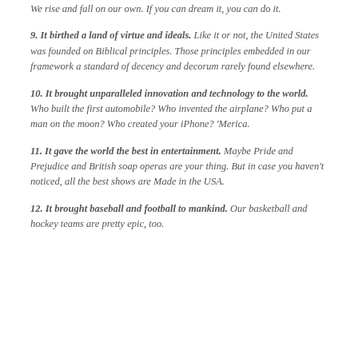We rise and fall on our own. If you can dream it, you can do it.
9. It birthed a land of virtue and ideals. Like it or not, the United States was founded on Biblical principles. Those principles embedded in our framework a standard of decency and decorum rarely found elsewhere.
10. It brought unparalleled innovation and technology to the world. Who built the first automobile? Who invented the airplane? Who put a man on the moon? Who created your iPhone? 'Merica.
11. It gave the world the best in entertainment. Maybe Pride and Prejudice and British soap operas are your thing. But in case you haven't noticed, all the best shows are Made in the USA.
12. It brought baseball and football to mankind. Our basketball and hockey teams are pretty epic, too.
...